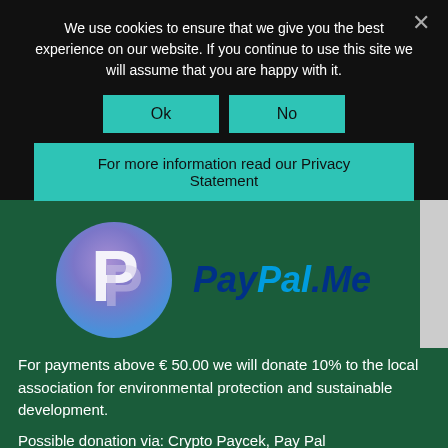We use cookies to ensure that we give you the best experience on our website. If you continue to use this site we will assume that you are happy with it.
Ok
No
For more information read our Privacy Statement
[Figure (logo): PayPal.Me logo with PayPal circular icon and stylized italic PayPal.Me text in blue]
For payments above € 50.00 we will donate 10% to the local association for environmental protection and sustainable development.
Possible donation via: Crypto Paycek, Pay Pal